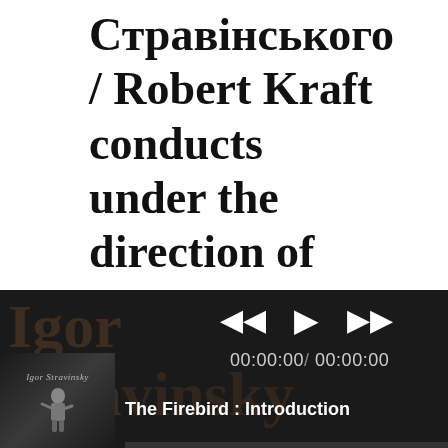Стравінського / Robert Kraft conducts under the direction of
[Figure (screenshot): Music player interface on dark background showing watermark text 'Igor Stravinsky', playback controls (previous, play, next), time display '00:00:00 / 00:00:00', album art thumbnail with signature and conductor photo, and track title 'The Firebird : Introduction']
00:00:00/ 00:00:00
The Firebird : Introduction